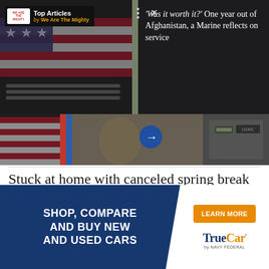[Figure (screenshot): Top Articles widget from We Are The Mighty. Left side shows a video still with US flags and military caskets, with pause and mute controls. Right side shows a selfie photo of a man in sunglasses with family. Three dots and X close button visible. Blue arrow navigation button. Article title overlay reads: 'Was it worth it?' One year out of Afghanistan, a Marine reflects on service.]
Stuck at home with canceled spring break plans, and summer vacations next on the chopping block, things
[Figure (screenshot): TrueCar advertisement banner. Left dark blue section reads: SHOP, COMPARE AND BUY NEW AND USED CARS. Right white section has orange LEARN MORE button and TrueCar by Navy Federal logo.]